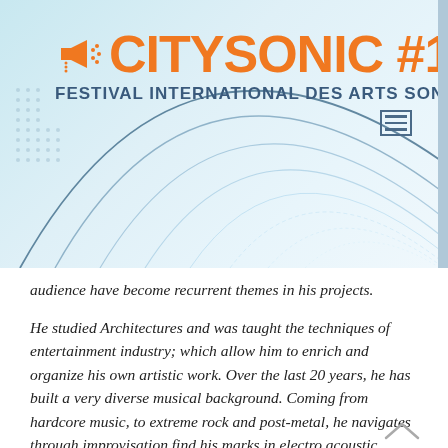[Figure (logo): CitySonic #12 Festival International des Arts Sonores logo with megaphone icon, orange text, and concentric arc graphic on light blue background]
audience have become recurrent themes in his projects.
He studied Architectures and was taught the techniques of entertainment industry; which allow him to enrich and organize his own artistic work. Over the last 20 years, he has built a very diverse musical background. Coming from hardcore music, to extreme rock and post-metal, he navigates through improvisation find his marks in electro acoustic